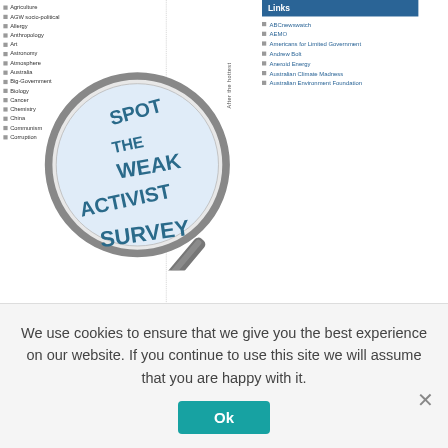Agriculture
AGW socio-political
Allergy
Anthropology
Art
Astronomy
Atmosphere
Australia
Big-Government
Biology
Cancer
Chemistry
China
Communism
Corruption
[Figure (photo): Magnifying glass with text 'SPOT THE WEAK ACTIVIST SURVEY' written inside the lens]
After the hottest
Links
ABCnewswatch
AEMO
Americans for Limited Government
Andrew Bolt
Aneroid Energy
Australian Climate Madness
Australian Environment Foundation
We use cookies to ensure that we give you the best experience on our website. If you continue to use this site we will assume that you are happy with it.
Ok